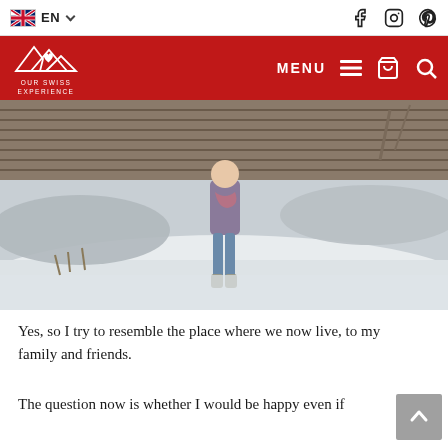EN (language selector) | Facebook, Instagram, Pinterest social icons
OUR SWISS EXPERIENCE — MENU, cart, search
[Figure (photo): A woman in a purple winter jacket and striped scarf standing in a snowy outdoor setting near a modernist concrete and wood structure, smiling at camera.]
Yes, so I try to resemble the place where we now live, to my family and friends.
The question now is whether I would be happy even if